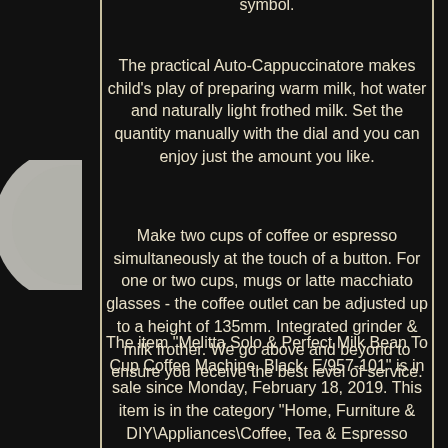symbol.
The practical Auto-Cappuccinatore makes child's play of preparing warm milk, hot water and naturally light frothed milk. Set the quantity manually with the dial and you can enjoy just the amount you like.
Make two cups of coffee or espresso simultaneously at the touch of a button. For one or two cups, mugs or latte macchiato glasses - the coffee outlet can be adjusted up to a height of 135mm. Integrated grinder & milk frother. We go above and beyond to ensure you receive the best level of service.
The item "Melitta Solo & Perfect Milk Bean To Cup Coffee Machine, Black, E/957-101" is in sale since Monday, February 18, 2019. This item is in the category "Home, Furniture & DIY\Appliances\Coffee, Tea & Espresso Makers\Bean-to-Cup Coffee Machines". The seller is "essystar18" and is located in